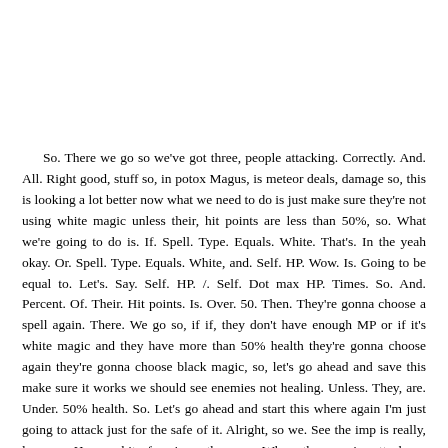So. There we go so we've got three, people attacking. Correctly. And. All. Right good, stuff so, in potox Magus, is meteor deals, damage so, this is looking a lot better now what we need to do is just make sure they're not using white magic unless their, hit points are less than 50%, so. What we're going to do is. If. Spell. Type. Equals. White. That's. In the yeah okay. Or. Spell. Type. Equals. White, and. Self. HP. Wow. Is. Going to be equal to. Let's. Say. Self. HP. /. Self. Dot max HP. Times. So. And. Percent. Of. Their. Hit points. Is. Over. 50. Then. They're gonna choose a spell again. There. We go so, if if, they don't have enough MP or if it's white magic and they have more than 50% health they're gonna choose again they're gonna choose black magic, so, let's go ahead and save this make sure it works we should see enemies not healing. Unless. They, are. Under. 50% health. So. Let's go ahead and start this where again I'm just going to attack just for the safe of it. Alright, so we. See the imp is really, low, we. Have, a bit of an issue there, so. When, the enemies attack we need to skip one more line so, there. Is four. Enemy, and enemies right here so we'll go, print. And. Then above. Magic. We. Need to remove that one right there. There. We go. All. Right so. That's. Fine for now we should, we're. Gonna play, a little bit and see if we can see a heal. Actually. We're not going to get to that point because we are going to lose. All. Right so now we need to do a bit of healing let's just use one of our mega elixirs. All. Right. So. Magus. Attacks, Valis. There. We go we're still good let's go ahead and. Attack. And. We might see. A. Heal. Here soon. Let's. Give it